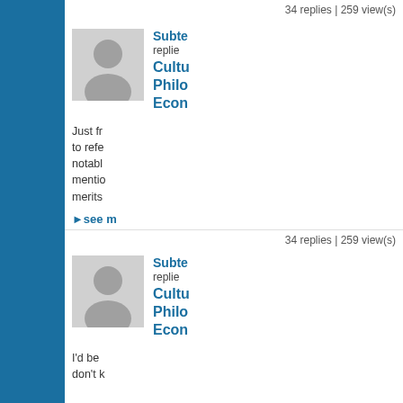34 replies | 259 view(s)
[Figure (illustration): Generic user avatar placeholder — gray silhouette of a person on light gray background]
Subte replied Cultu Philo Econ
Just fr to refe notabl mentio merits
▸see m
34 replies | 259 view(s)
[Figure (illustration): Generic user avatar placeholder — gray silhouette of a person on light gray background]
Subte replied Cultu Philo Econ
I'd be don't k